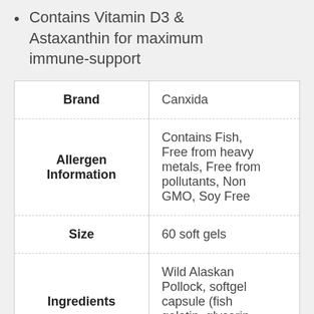Contains Vitamin D3 & Astaxanthin for maximum immune-support
|  |  |
| --- | --- |
| Brand | Canxida |
| Allergen Information | Contains Fish, Free from heavy metals, Free from pollutants, Non GMO, Soy Free |
| Size | 60 soft gels |
| Ingredients | Wild Alaskan Pollock, softgel capsule (fish gelatin, glycerin, purified water) |